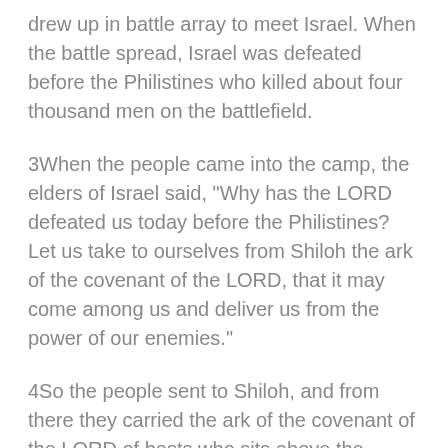drew up in battle array to meet Israel. When the battle spread, Israel was defeated before the Philistines who killed about four thousand men on the battlefield.
3When the people came into the camp, the elders of Israel said, "Why has the LORD defeated us today before the Philistines? Let us take to ourselves from Shiloh the ark of the covenant of the LORD, that it may come among us and deliver us from the power of our enemies."
4So the people sent to Shiloh, and from there they carried the ark of the covenant of the LORD of hosts who sits above the cherubim; and the two sons of Eli, Hophni and Phinehas, were there with the ark of the covenant of God.
10So the Philistines fought and Israel was defeated, and every man fled to his tent; and the slaughter was very great; for there fell of Israel